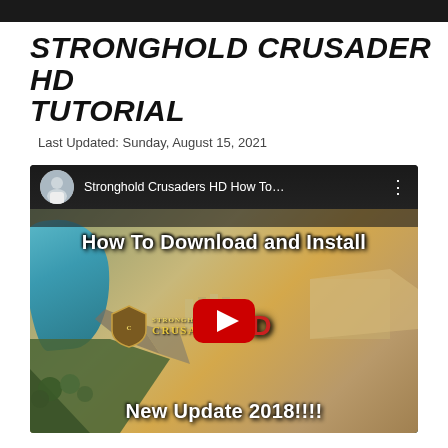STRONGHOLD CRUSADER HD TUTORIAL
Last Updated: Sunday, August 15, 2021
[Figure (screenshot): YouTube video thumbnail for 'Stronghold Crusaders HD How To...' showing a game screenshot with text 'How To Download and Install' and 'New Update 2018!!!!' overlaid on an isometric game map, with a red YouTube play button in the center.]